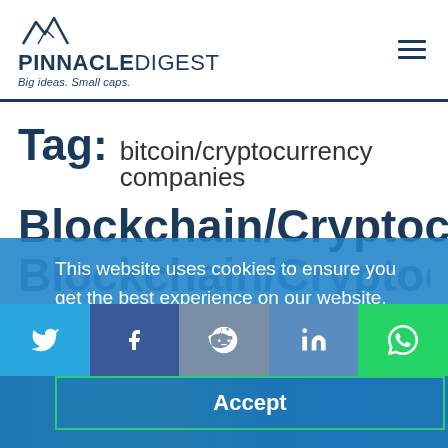[Figure (logo): Pinnacle Digest logo with mountain peaks icon and tagline 'Big ideas. Small caps.']
Tag: bitcoin/cryptocurrency companies
Blockchain/Cryptocurrency...
This website uses cookies to ensure you get the best experience on our website.
Learn More
Accept
[Figure (screenshot): Social media share bar with Twitter, Facebook, Reddit, LinkedIn, and WhatsApp icons]